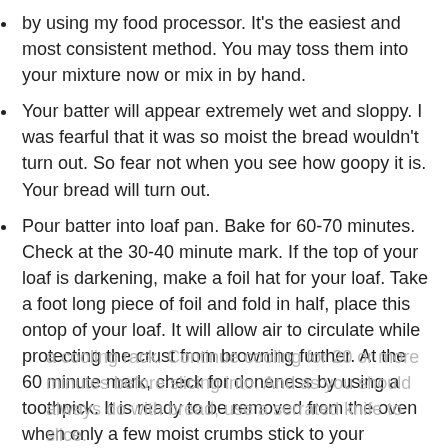by using my food processor. It's the easiest and most consistent method. You may toss them into your mixture now or mix in by hand.
Your batter will appear extremely wet and sloppy. I was fearful that it was so moist the bread wouldn't turn out. So fear not when you see how goopy it is. Your bread will turn out.
Pour batter into loaf pan. Bake for 60-70 minutes. Check at the 30-40 minute mark. If the top of your loaf is darkening, make a foil hat for your loaf. Take a foot long piece of foil and fold in half, place this ontop of your loaf. It will allow air to circulate while protecting the crust from browning further. At the 60 minute mark, check for doneness by using a toothpick. It is ready to be removed from the oven when only a few moist crumbs stick to your toothpick. You don't want wet batter coming out. If it is still too wet, cook for an additional 10 minutes and recheck.
Let cool in pan for 5-10 minutes. Then carefully transfer to a cooling rack. Continue cooling for 20 or more minutes before slicing into. And as you should always do with bread, use a serrated knife to slice.